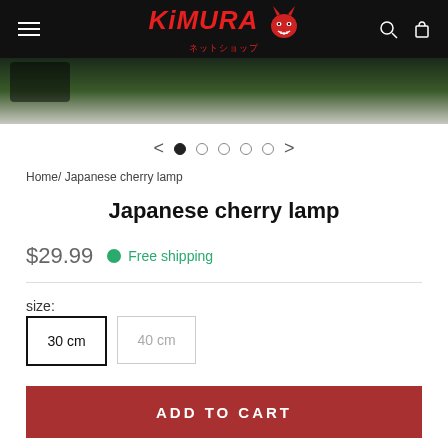KIMURA ネットショップ
[Figure (photo): Hero product image strip showing blurred outdoor background]
[Figure (other): Carousel navigation with left arrow, 5 dots (first filled), right arrow]
Home/ Japanese cherry lamp
Japanese cherry lamp
$29.99  Free shipping
size:
30 cm
40 cm
ADD TO CART